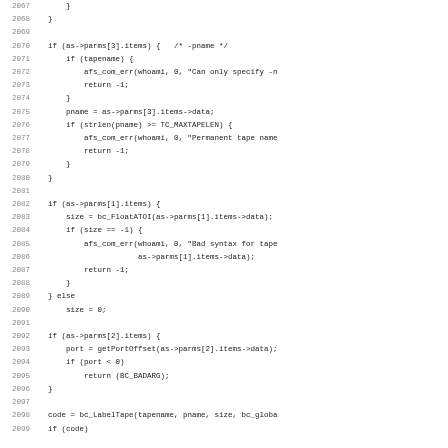[Figure (other): Source code listing in C, lines 2067-2099, showing tape label handling logic with line numbers on the left and monospace code on the right.]